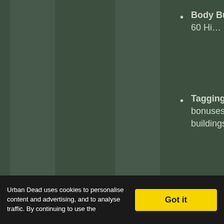Joe
Body Building (Player has a maximum of 60 Hit Points instead of 50.)
Tagging (Player's spraycans last longer. XP bonuses are awarded for tagging certain buildings.)
Construction (Player is able to build barricades, repair machinery and restore ruined buildings.)
Radio Operation (Player is able to broadcast with the restricted 26.00-28.00 MHz range.)
Headshot (If the player delivers a killing blow to…)
Urban Dead uses cookies to personalise content and advertising, and to analyse traffic. By continuing to use the site…